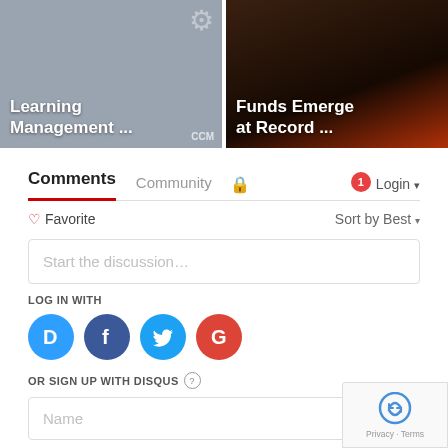[Figure (screenshot): Two article thumbnail cards side by side. Left card: gray background with 'Learning Management ...' in white bold text. Right card: dark reddish-brown background with 'Funds Emerge at Record ...' in white bold text.]
Comments   Community   🔒   1   Login ▾
♡ Favorite   Sort by Best ▾
Start the discussion…
LOG IN WITH
[Figure (logo): Four social login icons: Disqus (blue D), Facebook (dark blue f), Twitter (light blue bird), Google (red G)]
OR SIGN UP WITH DISQUS ?
Name